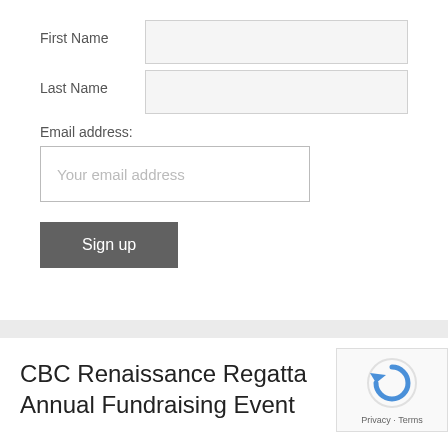First Name
Last Name
Email address:
Your email address
Sign up
CBC Renaissance Regatta Annual Fundraising Event